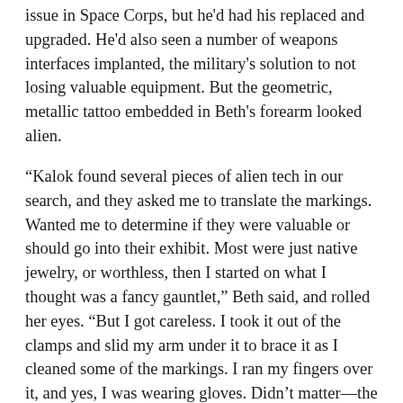issue in Space Corps, but he'd had his replaced and upgraded. He'd also seen a number of weapons interfaces implanted, the military's solution to not losing valuable equipment. But the geometric, metallic tattoo embedded in Beth's forearm looked alien.
“Kalok found several pieces of alien tech in our search, and they asked me to translate the markings. Wanted me to determine if they were valuable or should go into their exhibit. Most were just native jewelry, or worthless, then I started on what I thought was a fancy gauntlet,” Beth said, and rolled her eyes. “But I got careless. I took it out of the clamps and slid my arm under it to brace it as I cleaned some of the markings. I ran my fingers over it, and yes, I was wearing gloves. Didn’t matter—the symbols lit up, and it attached to me. I searched for a catch, some way to open it and get it off my arm. The entire gauntlet began to glow, and within an hour it had embedded itself under my skin. Then the visions started,” she said as she pulled down her sleeve, covering the strange markings.
“The sliding something something…”